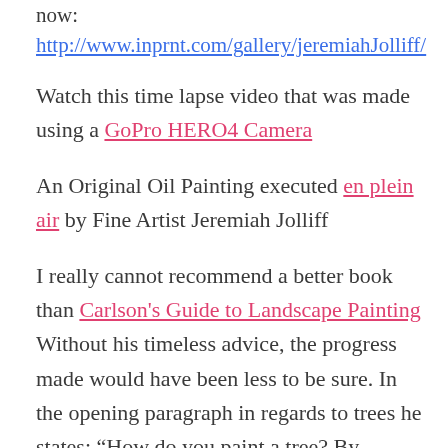now: http://www.inprnt.com/gallery/jeremiahJolliff/
Watch this time lapse video that was made using a GoPro HERO4 Camera
An Original Oil Painting executed en plein air by Fine Artist Jeremiah Jolliff
I really cannot recommend a better book than Carlson's Guide to Landscape Painting Without his timeless advice, the progress made would have been less to be sure. In the opening paragraph in regards to trees he states: “How do you paint a tree? By understanding them.” He continues: “Know your trees, their nature, their growth, their movement; understand that they are conscious, living things, with tribulations and